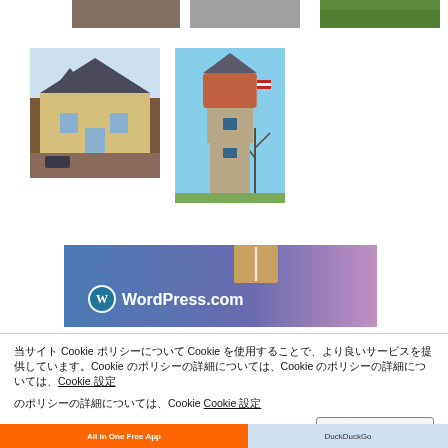[Figure (photo): Partial photo at top left — building or structure, mostly cut off]
[Figure (photo): Partial photo at top center — structure, mostly cut off]
[Figure (photo): Partial photo at top right — green outdoor scene, mostly cut off]
[Figure (photo): Victorian-style yellow building with dark roof and parking lot in front]
[Figure (photo): Tall brick water tower with round top tank, blue sky, bare trees, and US flag]
[Figure (screenshot): WordPress.com banner with gradient blue-purple background and WordPress logo and text]
当サイト Cookie ポリシーについて Cookie を使用することで、より良いサービスを提供しています。Cookie のポリシーの詳細については、Cookie 設定
設定を保存する